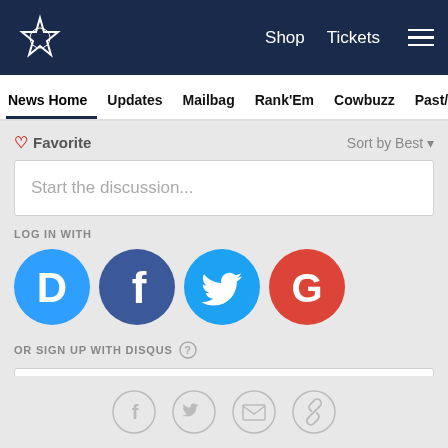Dallas Cowboys — Shop  Tickets  ☰
News Home  Updates  Mailbag  Rank'Em  Cowbuzz  Past/Pres
♡ Favorite
Sort by Best ▾
Start the discussion...
LOG IN WITH
[Figure (logo): Social login icons: Disqus (blue D), Facebook (dark blue f), Twitter (light blue bird), Google (red G)]
OR SIGN UP WITH DISQUS ?
Name
[Figure (infographic): Bottom share icons: Facebook circle, Twitter circle, Email circle, Link circle]